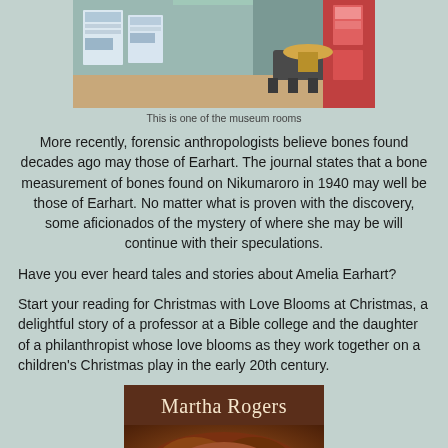[Figure (photo): A museum room showing display boards, chairs, and exhibition materials]
This is one of the museum rooms
More recently, forensic anthropologists believe bones found decades ago may those of Earhart. The journal states that a bone measurement of bones found on Nikumaroro in 1940 may well be those of Earhart. No matter what is proven with the discovery, some aficionados of the mystery of where she may be will continue with their speculations.
Have you ever heard tales and stories about Amelia Earhart?
Start your reading for Christmas with Love Blooms at Christmas, a delightful story of a professor at a Bible college and the daughter of a philanthropist whose love blooms as they work together on a children's Christmas play in the early 20th century.
[Figure (photo): Book cover showing 'Martha Rogers' text on a dark brown background with a woman's curly hair visible at bottom]